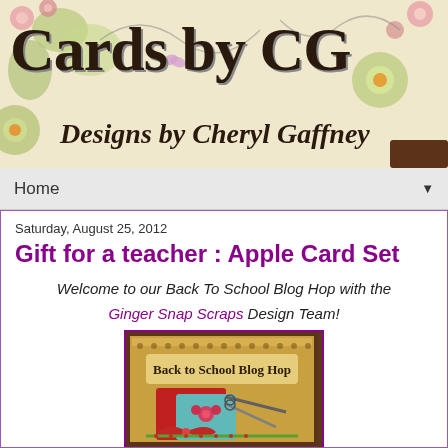[Figure (illustration): Cards by CG blog header banner with floral watercolor background and title 'Cards by CG' in large serif font with 'Designs by Cheryl Gaffney' subtitle in italic serif.]
Home ▼
Saturday, August 25, 2012
Gift for a teacher : Apple Card Set
Welcome to our Back To School Blog Hop with the Ginger Snap Scraps Design Team!
[Figure (illustration): Back to School Blog Hop badge/graphic with decorative scissors, bow/flower embellishments on a rulers background with 'Back to School Blog Hop' text.]